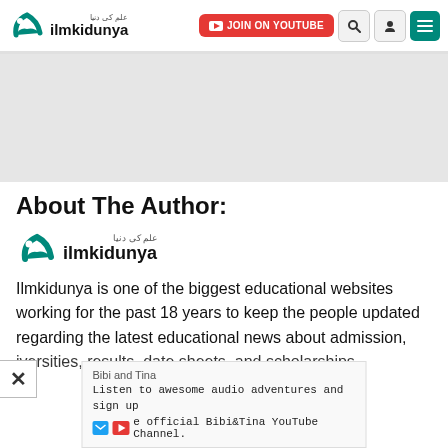ilmkidunya - JOIN ON YOUTUBE
[Figure (other): Gray advertisement placeholder area]
About The Author:
[Figure (logo): ilmkidunya logo with Arabic text and teal bird icon]
Ilmkidunya is one of the biggest educational websites working for the past 18 years to keep the people updated regarding the latest educational news about admission, iversities, results, date sheets, and scholarships.
[Figure (other): Bottom advertisement overlay: Bibi and Tina - Listen to awesome audio adventures and sign up the official Bibi&Tina YouTube Channel.]